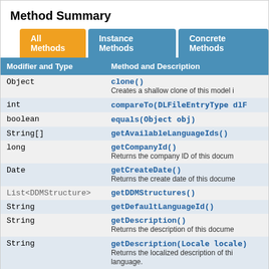Method Summary
| Modifier and Type | Method and Description |
| --- | --- |
| Object | clone()
Creates a shallow clone of this model i |
| int | compareTo(DLFileEntryType dlF |
| boolean | equals(Object obj) |
| String[] | getAvailableLanguageIds() |
| long | getCompanyId()
Returns the company ID of this docum |
| Date | getCreateDate()
Returns the create date of this docume |
| List<DDMStructure> | getDDMStructures() |
| String | getDefaultLanguageId() |
| String | getDescription()
Returns the description of this docume |
| String | getDescription(Locale locale)
Returns the localized description of this language. |
| String | getDescription(Locale locale,
Returns the localized description of |